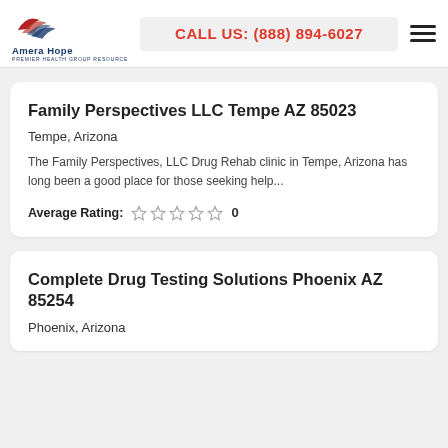Amera Hope | PREMIER HEALTH GROUP RESOURCE | CALL US: (888) 894-6027
Family Perspectives LLC Tempe AZ 85023
Tempe, Arizona
The Family Perspectives, LLC Drug Rehab clinic in Tempe, Arizona has long been a good place for those seeking help...
Average Rating: 0
Complete Drug Testing Solutions Phoenix AZ 85254
Phoenix, Arizona